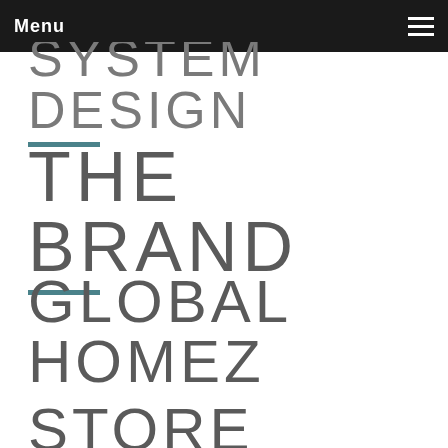Menu
SYSTEM DESIGN
THE BRAND
GLOBAL HOMEZ STORE